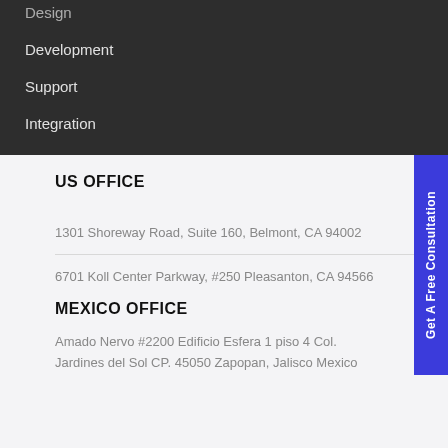Design
Development
Support
Integration
US OFFICE
1301 Shoreway Road, Suite 160, Belmont, CA 94002
6701 Koll Center Parkway, #250 Pleasanton, CA 94566
MEXICO OFFICE
Amado Nervo #2200 Edificio Esfera 1 piso 4 Col. Jardines del Sol CP. 45050 Zapopan, Jalisco Mexico